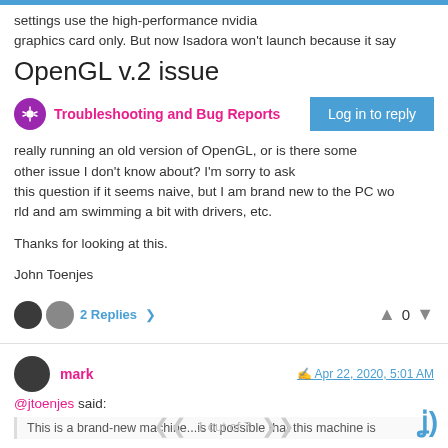settings use the high-performance nvidia graphics card only. But now Isadora won't launch because it say
OpenGL v.2 issue
Troubleshooting and Bug Reports
Log in to reply
really running an old version of OpenGL, or is there some other issue I don't know about? I'm sorry to ask this question if it seems naive, but I am brand new to the PC world and am swimming a bit with drivers, etc.
Thanks for looking at this.
John Toenjes
2 Replies >   0
mark   Apr 22, 2020, 5:01 AM
@jtoenjes said:
This is a brand-new machine...is it possible that this machine is
1 out of 7